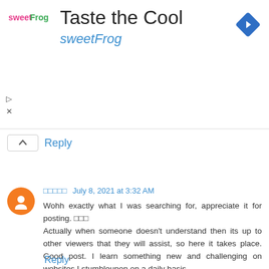[Figure (screenshot): SweetFrog advertisement banner with logo, title 'Taste the Cool', brand name 'sweetFrog', and a blue diamond turn arrow icon]
Reply
aaaaa July 8, 2021 at 3:32 AM
Wohh exactly what I was searching for, appreciate it for posting. aaa
Actually when someone doesn't understand then its up to other viewers that they will assist, so here it takes place. Good post. I learn something new and challenging on websites I stumbleupon on a daily basis.
It's always interesting to read content from other writers and use
something from other sites.
Reply